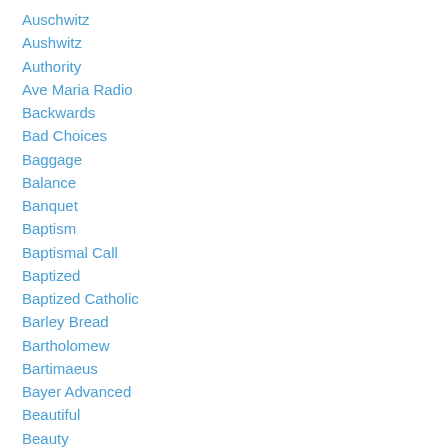Auschwitz
Aushwitz
Authority
Ave Maria Radio
Backwards
Bad Choices
Baggage
Balance
Banquet
Baptism
Baptismal Call
Baptized
Baptized Catholic
Barley Bread
Bartholomew
Bartimaeus
Bayer Advanced
Beautiful
Beauty
Beggar
Betrayal